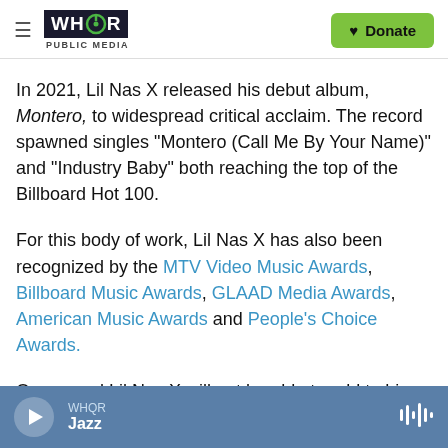WHQR PUBLIC MEDIA | Donate
In 2021, Lil Nas X released his debut album, Montero, to widespread critical acclaim. The record spawned singles "Montero (Call Me By Your Name)" and "Industry Baby" both reaching the top of the Billboard Hot 100.
For this body of work, Lil Nas X has also been recognized by the MTV Video Music Awards, Billboard Music Awards, GLAAD Media Awards, American Music Awards and People's Choice Awards.
One award Lil Nas X will not be able to add to his
WHQR Jazz